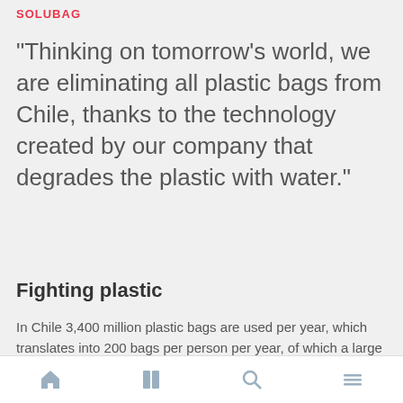SOLUBAG
"Thinking on tomorrow's world, we are eliminating all plastic bags from Chile, thanks to the technology created by our company that degrades the plastic with water."
Fighting plastic
In Chile 3,400 million plastic bags are used per year, which translates into 200 bags per person per year, of which a large part ends up in sanitary landfills or in the environment, causing a pollution of proportions according
Navigation bar with home, book, search, and menu icons